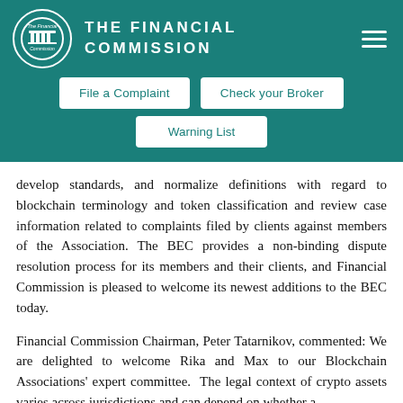THE FINANCIAL COMMISSION
develop standards, and normalize definitions with regard to blockchain terminology and token classification and review case information related to complaints filed by clients against members of the Association. The BEC provides a non-binding dispute resolution process for its members and their clients, and Financial Commission is pleased to welcome its newest additions to the BEC today.
Financial Commission Chairman, Peter Tatarnikov, commented: We are delighted to welcome Rika and Max to our Blockchain Associations' expert committee. The legal context of crypto assets varies across jurisdictions and can depend on whether a